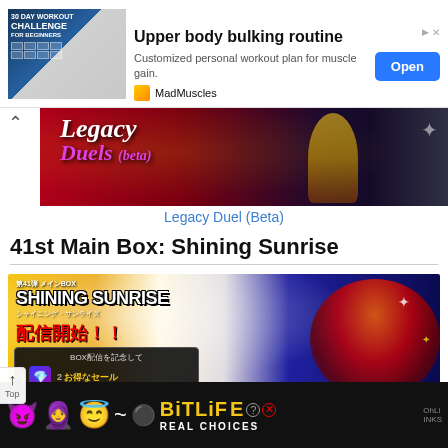[Figure (screenshot): Ad banner for MadMuscles 30 Day Workout Challenge app showing '30 DAY WORKOUT CHALLENGE FOR BEGINNERS' image on the left, text 'Upper body bulking routine' and 'Customized personal workout plan for muscle gain.' in the center, and a blue 'Open' button on the right. Brand shows MadMuscles logo at bottom.]
[Figure (screenshot): Legacy Duel (Beta) banner image showing anime characters on a red/dark background with stylized text 'Legacy Duels (beta)' overlaid]
Legacy Duel (Beta)
41st Main Box: Shining Sunrise
[Figure (screenshot): Shining Sunrise 41st Main Box promotional image in Japanese with text '第41弾 メインBOX SHINING SUNRISE シャイニング・サンライズ 配信開始!! BOX配信を記念して' showing anime mecha/robot character on right side]
[Figure (screenshot): BitLife mobile game advertisement at bottom showing emoji characters (purple devil, person, angel) on black background with yellow 'BITLIFE' title and 'REAL CHOICES' text]